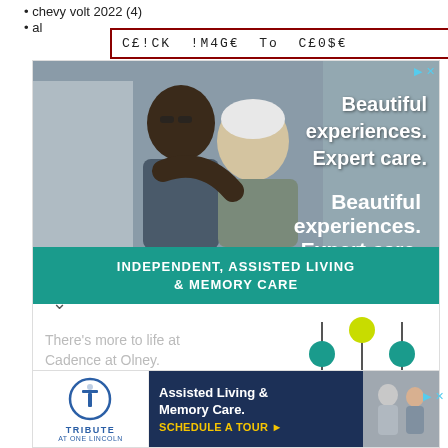chevy volt 2022 (4)
al...
C£!CK !M4G€ To C£0$€
[Figure (photo): Advertisement for Cadence Living - Olney. Shows an elderly couple embracing outdoors. Text reads 'Beautiful experiences. Expert care.' Teal banner: 'INDEPENDENT, ASSISTED LIVING & MEMORY CARE'. Bottom section: 'There's more to life at Cadence at Olney.' with REQUEST INFO button and Cadence Living logo.]
[Figure (photo): Advertisement for Tribute at One Lincoln assisted living. Shows 'Assisted Living & Memory Care. SCHEDULE A TOUR' with Tribute logo and photo of people in background.]